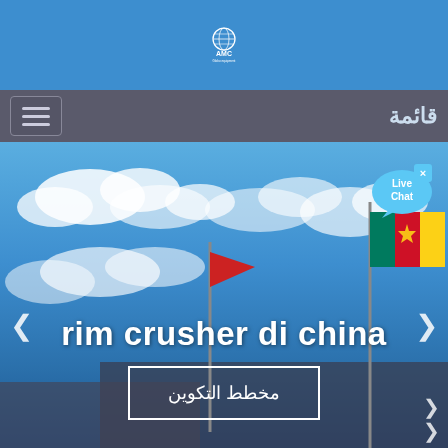[Figure (logo): AMC Globo Equipment logo - globe with AMC text in blue circle, white background, on blue header bar]
[Figure (screenshot): Navigation bar with hamburger menu icon on left and Arabic text 'قائمة' (Menu) on right]
[Figure (photo): Hero image showing blue sky with clouds, flags on poles including Cameroon flag, with overlaid text 'rim crusher di china' and a configuration button in Arabic, live chat bubble in top right]
rim crusher di china
مخطط التكوين
قائمة